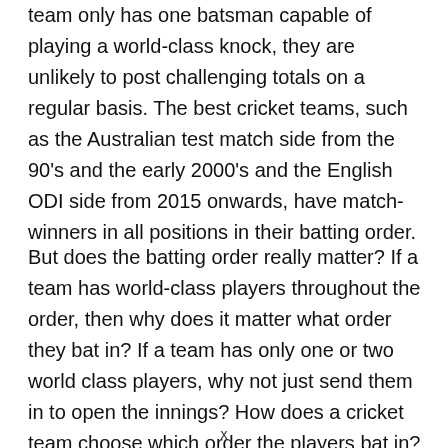team only has one batsman capable of playing a world-class knock, they are unlikely to post challenging totals on a regular basis. The best cricket teams, such as the Australian test match side from the 90's and the early 2000's and the English ODI side from 2015 onwards, have match-winners in all positions in their batting order.
But does the batting order really matter? If a team has world-class players throughout the order, then why does it matter what order they bat in? If a team has only one or two world class players, why not just send them in to open the innings? How does a cricket team choose which order the players bat in? I'll be
x